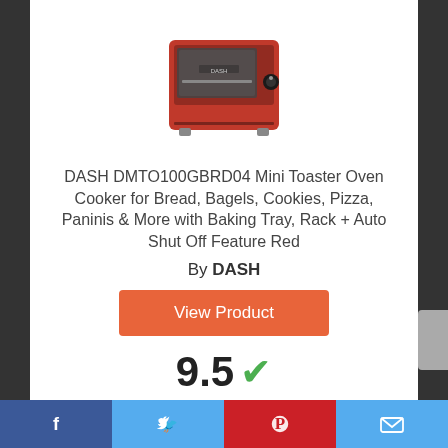[Figure (photo): Red DASH mini toaster oven with glass front window and knob control]
DASH DMTO100GBRD04 Mini Toaster Oven Cooker for Bread, Bagels, Cookies, Pizza, Paninis & More with Baking Tray, Rack + Auto Shut Off Feature Red
By DASH
View Product
9.5
Score
Facebook | Twitter | Pinterest | Email